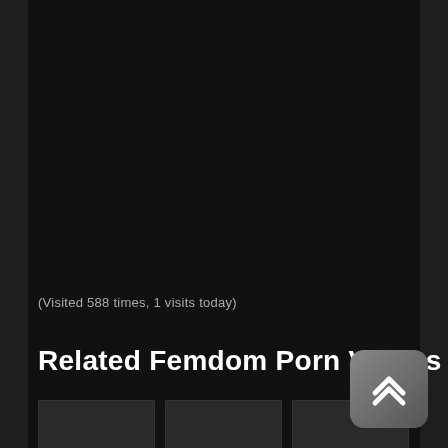(Visited 588 times, 1 visits today)
Related Femdom Porn Videos
[Figure (screenshot): Black background content area with three video thumbnail placeholders at the bottom and a scroll-to-top button in the bottom right corner]